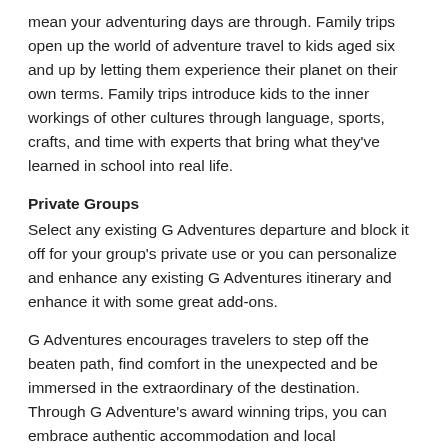mean your adventuring days are through. Family trips open up the world of adventure travel to kids aged six and up by letting them experience their planet on their own terms. Family trips introduce kids to the inner workings of other cultures through language, sports, crafts, and time with experts that bring what they've learned in school into real life.
Private Groups
Select any existing G Adventures departure and block it off for your group's private use or you can personalize and enhance any existing G Adventures itinerary and enhance it with some great add-ons.
G Adventures encourages travelers to step off the beaten path, find comfort in the unexpected and be immersed in the extraordinary of the destination. Through G Adventure's award winning trips, you can embrace authentic accommodation and local transportation that will bring you face to face with the world's most fascinating cultures, customs and awe-inspiring wildlife.